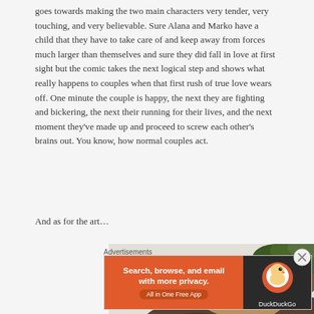goes towards making the two main characters very tender, very touching, and very believable. Sure Alana and Marko have a child that they have to take care of and keep away from forces much larger than themselves and sure they did fall in love at first sight but the comic takes the next logical step and shows what really happens to couples when that first rush of true love wears off. One minute the couple is happy, the next they are fighting and bickering, the next their running for their lives, and the next moment they've made up and proceed to screw each other's brains out. You know, how normal couples act.
And as for the art…
[Figure (illustration): Partial illustration of a comic book character with green foliage on head, wearing brown/dark clothing, visible from upper torso]
Advertisements
[Figure (other): DuckDuckGo advertisement banner: 'Search, browse, and email with more privacy. All in One Free App' with DuckDuckGo duck logo on dark right panel]